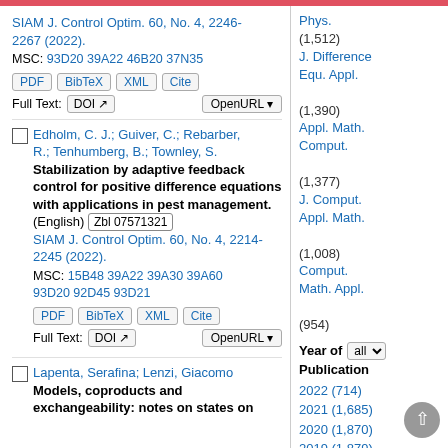SIAM J. Control Optim. 60, No. 4, 2246-2267 (2022).
MSC: 93D20 39A22 46B20 37N35
PDF | BibTeX | XML | Cite
Full Text: DOI | OpenURL
Edholm, C. J.; Guiver, C.; Rebarber, R.; Tenhumberg, B.; Townley, S. Stabilization by adaptive feedback control for positive difference equations with applications in pest management. (English) Zbl 07571321. SIAM J. Control Optim. 60, No. 4, 2214-2245 (2022). MSC: 15B48 39A22 39A30 39A60 93D20 92D45 93D21
PDF | BibTeX | XML | Cite
Full Text: DOI | OpenURL
Lapenta, Serafina; Lenzi, Giacomo Models, coproducts and exchangeability: notes on states on
Phys. (1,512)
J. Difference Equ. Appl. (1,390)
Appl. Math. Comput. (1,377)
J. Comput. Appl. Math. (1,008)
Comput. Math. Appl. (954)
Year of Publication
2022 (714)
2021 (1,685)
2020 (1,870)
2019 (1,879)
2018 (1,794)